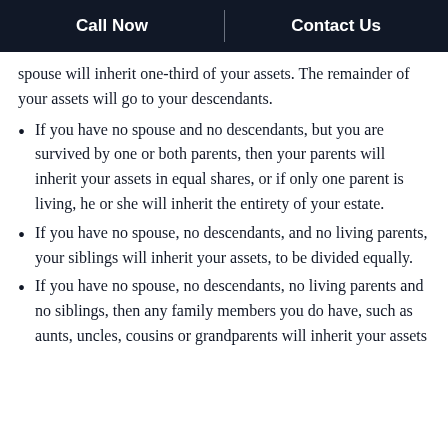Call Now | Contact Us
spouse will inherit one-third of your assets. The remainder of your assets will go to your descendants.
If you have no spouse and no descendants, but you are survived by one or both parents, then your parents will inherit your assets in equal shares, or if only one parent is living, he or she will inherit the entirety of your estate.
If you have no spouse, no descendants, and no living parents, your siblings will inherit your assets, to be divided equally.
If you have no spouse, no descendants, no living parents and no siblings, then any family members you do have, such as aunts, uncles, cousins or grandparents will inherit your assets